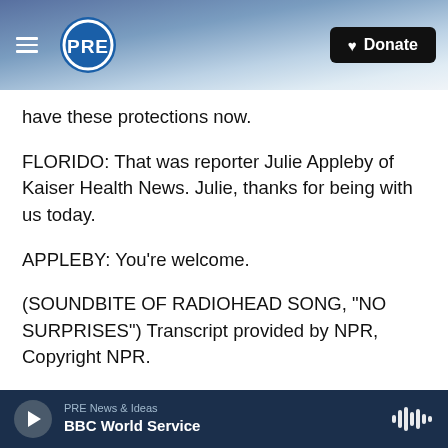PRE | Donate
have these protections now.
FLORIDO: That was reporter Julie Appleby of Kaiser Health News. Julie, thanks for being with us today.
APPLEBY: You're welcome.
(SOUNDBITE OF RADIOHEAD SONG, "NO SURPRISES") Transcript provided by NPR, Copyright NPR.
US
PRE News & Ideas | BBC World Service